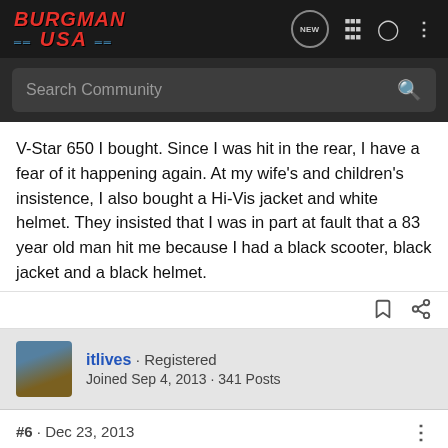BURGMAN USA — navigation bar with logo, NEW, list, user, and more icons
Search Community
V-Star 650 I bought. Since I was hit in the rear, I have a fear of it happening again. At my wife's and children's insistence, I also bought a Hi-Vis jacket and white helmet. They insisted that I was in part at fault that a 83 year old man hit me because I had a black scooter, black jacket and a black helmet.
itlives · Registered
Joined Sep 4, 2013 · 341 Posts
#6 · Dec 23, 2013
osbornk said: ↑
They insisted that I was in part at fault that a 83 year old man hit me because I had...